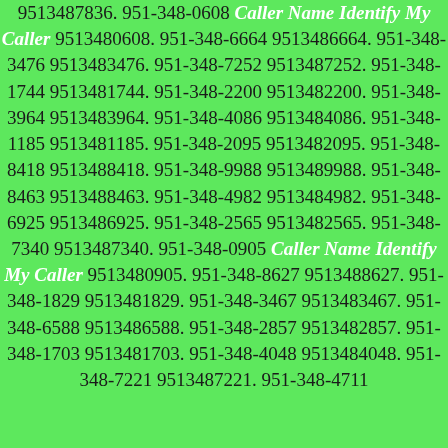9513487836. 951-348-0608 Caller Name Identify My Caller 9513480608. 951-348-6664 9513486664. 951-348-3476 9513483476. 951-348-7252 9513487252. 951-348-1744 9513481744. 951-348-2200 9513482200. 951-348-3964 9513483964. 951-348-4086 9513484086. 951-348-1185 9513481185. 951-348-2095 9513482095. 951-348-8418 9513488418. 951-348-9988 9513489988. 951-348-8463 9513488463. 951-348-4982 9513484982. 951-348-6925 9513486925. 951-348-2565 9513482565. 951-348-7340 9513487340. 951-348-0905 Caller Name Identify My Caller 9513480905. 951-348-8627 9513488627. 951-348-1829 9513481829. 951-348-3467 9513483467. 951-348-6588 9513486588. 951-348-2857 9513482857. 951-348-1703 9513481703. 951-348-4048 9513484048. 951-348-7221 9513487221. 951-348-4711